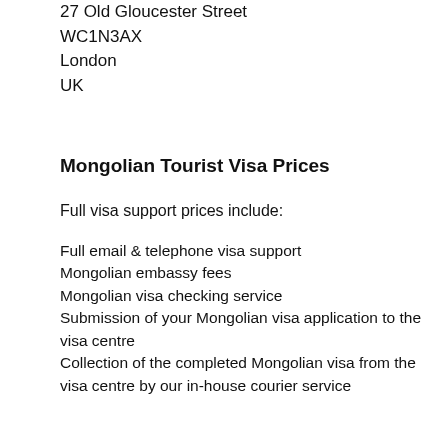27 Old Gloucester Street
WC1N3AX
London
UK
Mongolian Tourist Visa Prices
Full visa support prices include:
Full email & telephone visa support
Mongolian embassy fees
Mongolian visa checking service
Submission of your Mongolian visa application to the visa centre
Collection of the completed Mongolian visa from the visa centre by our in-house courier service
| Tourist Visa Processing time | Visa Fee | Visa |
| --- | --- | --- |
| Standard (3 working days) | £40 |  |
| Express (same working day) | £60 |  |